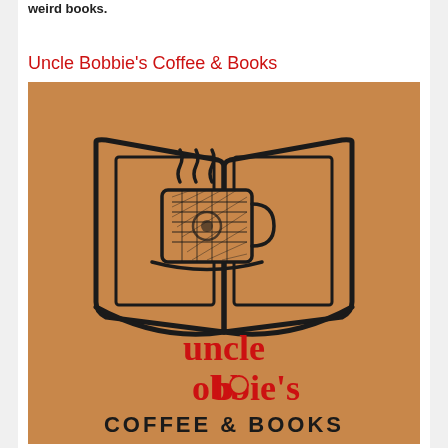weird books.
Uncle Bobbie's Coffee & Books
[Figure (logo): Uncle Bobbie's Coffee & Books logo: brown/tan background with a black line-art open book containing a decorative coffee cup with steam rising. Below the book illustration is red text reading 'uncle bobbie's' and black bold text reading 'COFFEE & BOOKS'.]